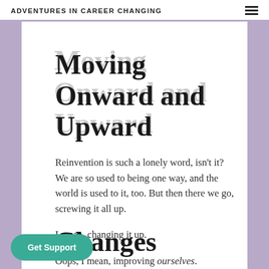ADVENTURES IN CAREER CHANGING
Moving Onward and Upward
Reinvention is such a lonely word, isn't it? We are so used to being one way, and the world is used to it, too. But then there we go, screwing it all up.
I mean, changing it up.
Oops, I mean, improving ourselves.
Changes
For quite a while, Adventures in Career Changing ended up [dormant]. At the same time, I ran a blog for independent writers called Lonely Writer. The numbers for